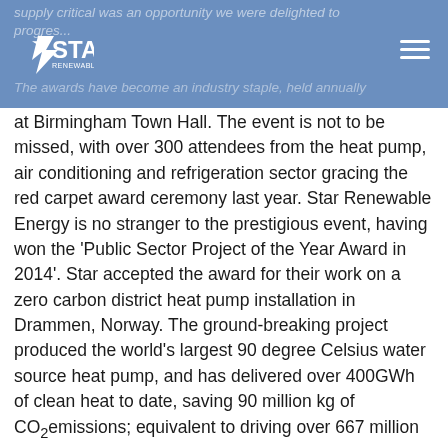supply critical was an opportunity we were delighted to progress.
[Figure (logo): Star Renewable Energy logo — white star and text on blue background]
The awards have become an industry staple, held annually at Birmingham Town Hall. The event is not to be missed, with over 300 attendees from the heat pump, air conditioning and refrigeration sector gracing the red carpet award ceremony last year. Star Renewable Energy is no stranger to the prestigious event, having won the 'Public Sector Project of the Year Award in 2014'. Star accepted the award for their work on a zero carbon district heat pump installation in Drammen, Norway. The ground-breaking project produced the world's largest 90 degree Celsius water source heat pump, and has delivered over 400GWh of clean heat to date, saving 90 million kg of CO₂ emissions; equivalent to driving over 667 million km or 16,000 times around the globe.